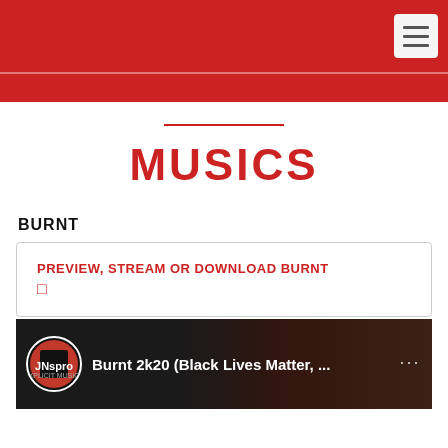[Figure (screenshot): Red navigation header bar with hamburger menu button on the right]
MUSICS
BURNT
PREVIEW, STREAM OR DOWNLOAD BURNT
[Figure (screenshot): YouTube video thumbnail showing 'Burnt 2k20 (Black Lives Matter, ...' with a circular logo on the left and three-dot menu on the right]